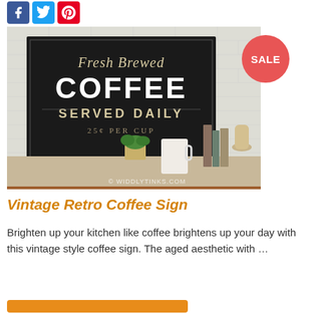[Figure (other): Social media share icons: Facebook (blue), Twitter (light blue), Pinterest (red)]
[Figure (photo): Vintage retro coffee sign on a black background reading 'Fresh Brewed COFFEE SERVED DAILY 25¢ PER CUP', displayed on a white brick wall with a coffee mug, plant, books and vases in the foreground. Watermark: WIDDLYTINKS.COM. A red 'SALE' badge overlays the top-right corner.]
Vintage Retro Coffee Sign
Brighten up your kitchen like coffee brightens up your day with this vintage style coffee sign. The aged aesthetic with …